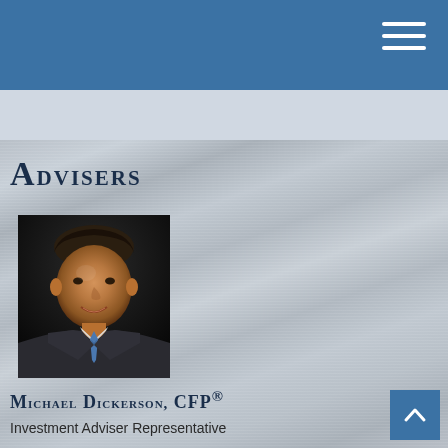Navigation bar with hamburger menu
Advisers
[Figure (photo): Professional headshot of Michael Dickerson in a suit with a blue tie against a dark background]
Michael Dickerson, CFP®
Investment Adviser Representative